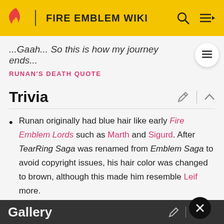FIRE EMBLEM WIKI
...Gaah... So this is how my journey ends...
RUNAN'S DEATH QUOTE
Trivia
Runan originally had blue hair like early Fire Emblem Lords such as Marth and Sigurd. After TearRing Saga was renamed from Emblem Saga to avoid copyright issues, his hair color was changed to brown, although this made him resemble Leif more.
Gallery